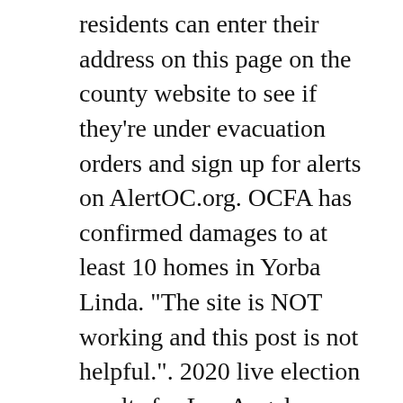residents can enter their address on this page on the county website to see if they're under evacuation orders and sign up for alerts on AlertOC.org. OCFA has confirmed damages to at least 10 homes in Yorba Linda. "The site is NOT working and this post is not helpful.". 2020 live election results for Los Angeles, California and the U.S. With presidential race hanging in the balance, when will Nevada be called?
On Tuesday morning, officials said the blaze had moved northwest into Chino Hills and Brea. GET BREAKING NEWS IN YOUR BROWSER. Ground crews had the help of numerous air resources from multiple fire